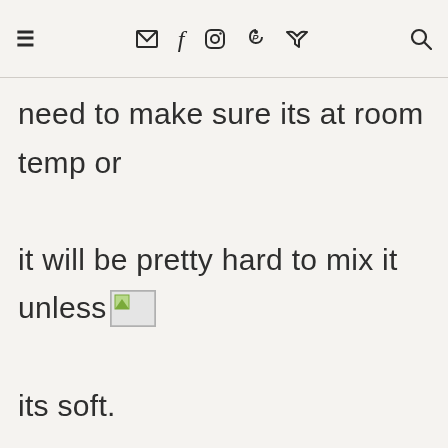≡  ✉  f  ◎  ℗  🐦  🔍
need to make sure its at room temp or it will be pretty hard to mix it unless its soft.

A quick tip if your cheese is coming straight out of the fridge is to microwave it on the defrost setting for about 20 to 30 seconds, it will be soft